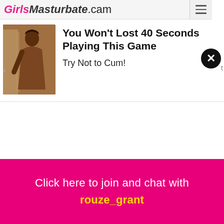GirlsMasturbate.cam
[Figure (screenshot): Ad banner showing a person outdoors with text: You Won't Lost 40 Seconds Playing This Game / Try Not to Cum!]
You Won't Lost 40 Seconds Playing This Game
Try Not to Cum!
Click here to join and chat with rouze_grant